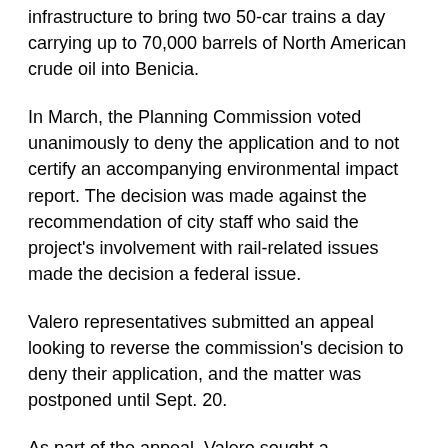infrastructure to bring two 50-car trains a day carrying up to 70,000 barrels of North American crude oil into Benicia.
In March, the Planning Commission voted unanimously to deny the application and to not certify an accompanying environmental impact report. The decision was made against the recommendation of city staff who said the project's involvement with rail-related issues made the decision a federal issue.
Valero representatives submitted an appeal looking to reverse the commission's decision to deny their application, and the matter was postponed until Sept. 20.
As part of the appeal, Valero sought a declaratory order from the Surface Transportation Board on the issue of federal preemption in regards to the project.
During this time, a more comprehensive environmental...